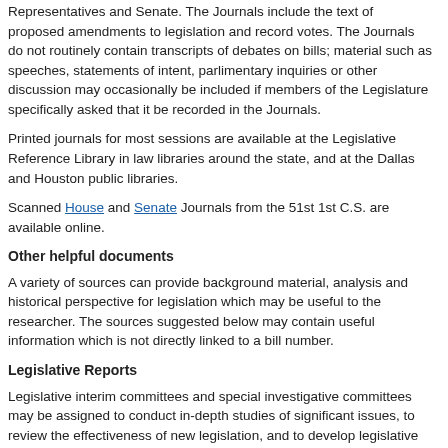Representatives and Senate. The Journals include the text of proposed amendments to legislation and record votes. The Journals do not routinely contain transcripts of debates on bills; material such as speeches, statements of intent, parlimentary inquiries or other discussion may occasionally be included if members of the Legislature specifically asked that it be recorded in the Journals.
Printed journals for most sessions are available at the Legislative Reference Library in law libraries around the state, and at the Dallas and Houston public libraries.
Scanned House and Senate Journals from the 51st 1st C.S. are available online.
Other helpful documents
A variety of sources can provide background material, analysis and historical perspective for legislation which may be useful to the researcher. The sources suggested below may contain useful information which is not directly linked to a bill number.
Legislative Reports
Legislative interim committees and special investigative committees may be assigned to conduct in-depth studies of significant issues, to review the effectiveness of new legislation, and to develop legislative proposals for upcoming sessions.
Search the Legislative Reports database by subject or keyword for related reports.